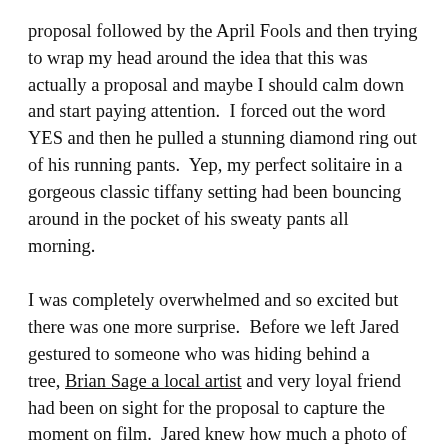proposal followed by the April Fools and then trying to wrap my head around the idea that this was actually a proposal and maybe I should calm down and start paying attention.  I forced out the word YES and then he pulled a stunning diamond ring out of his running pants.  Yep, my perfect solitaire in a gorgeous classic tiffany setting had been bouncing around in the pocket of his sweaty pants all morning.
I was completely overwhelmed and so excited but there was one more surprise.  Before we left Jared gestured to someone who was hiding behind a tree, Brian Sage a local artist and very loyal friend had been on sight for the proposal to capture the moment on film.  Jared knew how much a photo of our engagement would mean to me and Brian was kind enough to get out of bed on a frigid morning to beat us to the spot where Jared would propose. And that's why he